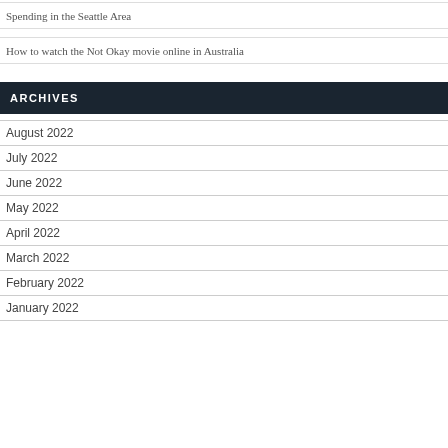Spending in the Seattle Area
How to watch the Not Okay movie online in Australia
ARCHIVES
August 2022
July 2022
June 2022
May 2022
April 2022
March 2022
February 2022
January 2022